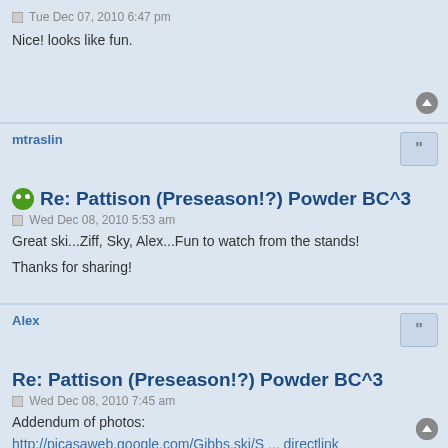Tue Dec 07, 2010 6:47 pm
Nice! looks like fun.
mtraslin
Re: Pattison (Preseason!?) Powder BC^3
Wed Dec 08, 2010 5:53 am
Great ski...Ziff, Sky, Alex...Fun to watch from the stands!
Thanks for sharing!
Alex
Re: Pattison (Preseason!?) Powder BC^3
Wed Dec 08, 2010 7:45 am
Addendum of photos:
http://picasaweb.google.com/Gibbs.ski/S ... directlink